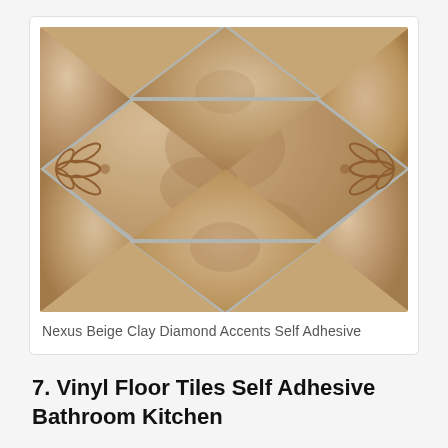[Figure (photo): Close-up photo of Nexus Beige Clay Diamond Accents vinyl floor tiles arranged in a diamond pattern with decorative floral/fan accents at the grout intersections. The tiles are beige/tan in color with a mottled texture and gray grout lines.]
Nexus Beige Clay Diamond Accents Self Adhesive
7. Vinyl Floor Tiles Self Adhesive Bathroom Kitchen